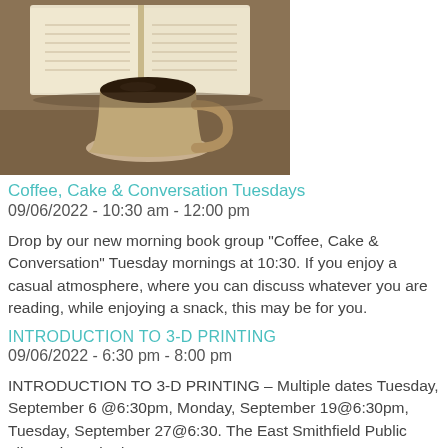[Figure (photo): A glass cup of black coffee with an open book in the background, placed on a wooden surface.]
Coffee, Cake & Conversation Tuesdays
09/06/2022 - 10:30 am - 12:00 pm
Drop by our new morning book group "Coffee, Cake & Conversation" Tuesday mornings at 10:30. If you enjoy a casual atmosphere, where you can discuss whatever you are reading, while enjoying a snack, this may be for you.
INTRODUCTION TO 3-D PRINTING
09/06/2022 - 6:30 pm - 8:00 pm
INTRODUCTION TO 3-D PRINTING – Multiple dates Tuesday, September 6 @6:30pm, Monday, September 19@6:30pm, Tuesday, September 27@6:30. The East Smithfield Public Library is excited to announce our